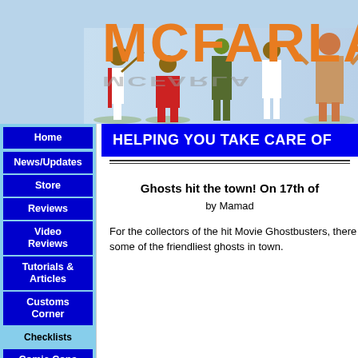[Figure (illustration): McFarlane Toys website header banner showing action figures (baseball players, soldier, monster) with large orange 'MCFARLA...' text logo on a light blue background]
Home
News/Updates
Store
Reviews
Video Reviews
Tutorials & Articles
Customs Corner
Checklists
Comic Cons
HELPING YOU TAKE CARE OF
Ghosts hit the town! On 17th of
by Mamad
For the collectors of the hit Movie Ghostbusters, there some of the friendliest ghosts in town.